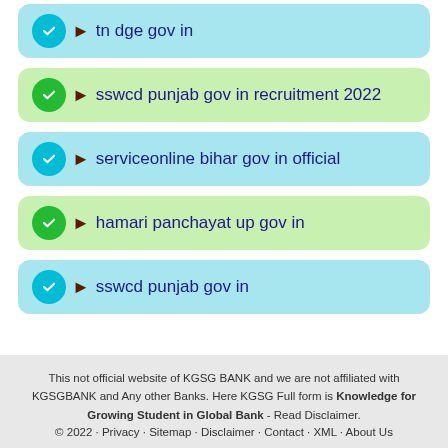tn dge gov in
sswcd punjab gov in recruitment 2022
serviceonline bihar gov in official
hamari panchayat up gov in
sswcd punjab gov in
This not official website of KGSG BANK and we are not affiliated with KGSGBANK and Any other Banks. Here KGSG Full form is Knowledge for Growing Student in Global Bank - Read Disclaimer. © 2022 · Privacy · Sitemap · Disclaimer · Contact · XML · About Us